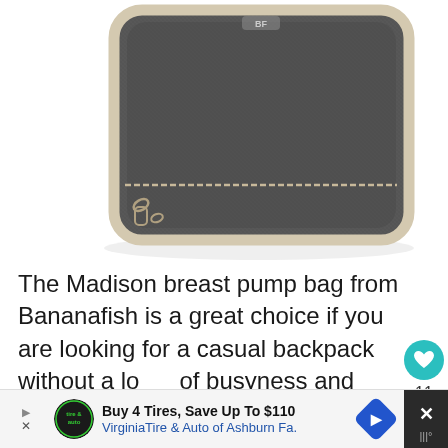[Figure (photo): A dark grey/charcoal Madison breast pump bag from Bananafish, shown from the front. The bag has a rectangular shape with rounded corners, grey fabric texture, off-white/cream piping/trim around the edges, a zipper across the front, and small zipper pulls on the left side. A small logo is visible near the top center.]
The Madison breast pump bag from Bananafish is a great choice if you are looking for a casual backpack without a lot of busyness and color.
This bag can hold most of the major breast
[Figure (infographic): Advertisement banner at the bottom: 'Buy 4 Tires, Save Up To $110 — VirginiaTire & Auto of Ashburn Fa.' with tire auto logo and a blue diamond arrow navigation icon.]